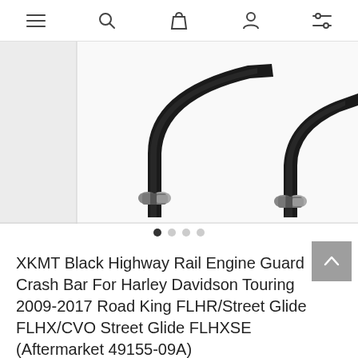Navigation bar with menu, search, cart, account, and filter icons
[Figure (photo): Black highway rail engine guard crash bar shown against white background, with two curved black metal bars visible at bottom]
XKMT Black Highway Rail Engine Guard Crash Bar For Harley Davidson Touring 2009-2017 Road King FLHR/Street Glide FLHX/CVO Street Glide FLHXSE (Aftermarket 49155-09A)